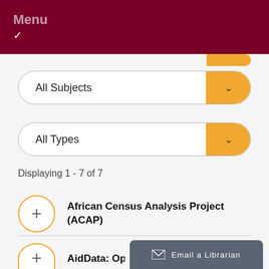Menu ✓
[Figure (screenshot): Partial dropdown at top with golden chevron button]
[Figure (screenshot): All Subjects dropdown selector with golden chevron button]
[Figure (screenshot): All Types dropdown selector with golden chevron button]
Displaying 1 - 7 of 7
African Census Analysis Project (ACAP)
AidData: Ope
[Figure (screenshot): Email a Librarian popup button]